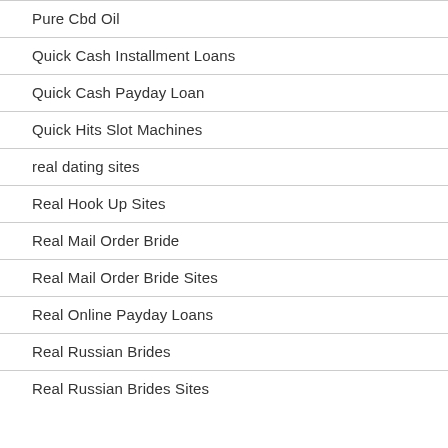Pure Cbd Oil
Quick Cash Installment Loans
Quick Cash Payday Loan
Quick Hits Slot Machines
real dating sites
Real Hook Up Sites
Real Mail Order Bride
Real Mail Order Bride Sites
Real Online Payday Loans
Real Russian Brides
Real Russian Brides Sites